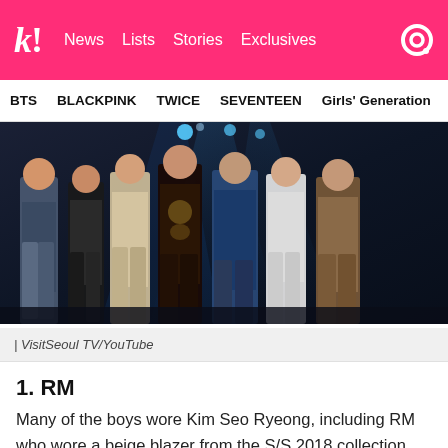k! News Lists Stories Exclusives
BTS BLACKPINK TWICE SEVENTEEN Girls' Generation
[Figure (photo): BTS group photo with seven members standing in various outfits against a dark background with blue stage lighting. VisitSeoul TV/YouTube]
| VisitSeoul TV/YouTube
1. RM
Many of the boys wore Kim Seo Ryeong, including RM who wore a beige blazer from the S/S 2018 collection.